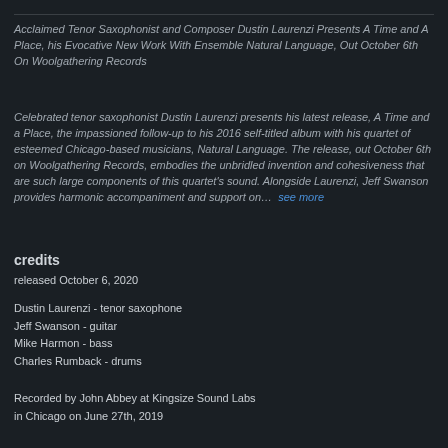Acclaimed Tenor Saxophonist and Composer Dustin Laurenzi Presents A Time and A Place, his Evocative New Work With Ensemble Natural Language, Out October 6th On Woolgathering Records
Celebrated tenor saxophonist Dustin Laurenzi presents his latest release, A Time and a Place, the impassioned follow-up to his 2016 self-titled album with his quartet of esteemed Chicago-based musicians, Natural Language. The release, out October 6th on Woolgathering Records, embodies the unbridled invention and cohesiveness that are such large components of this quartet's sound. Alongside Laurenzi, Jeff Swanson provides harmonic accompaniment and support on…  see more
credits
released October 6, 2020
Dustin Laurenzi - tenor saxophone
Jeff Swanson - guitar
Mike Harmon - bass
Charles Rumback - drums
Recorded by John Abbey at Kingsize Sound Labs in Chicago on June 27th, 2019